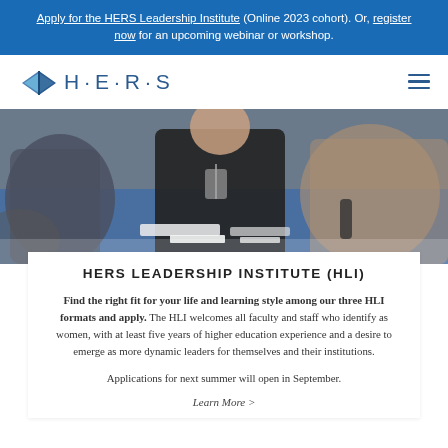Apply for the HERS Leadership Institute (Online 2023 cohort). Or, register now for an upcoming webinar or workshop.
[Figure (logo): HERS logo with blue open book icon and H·E·R·S lettering]
[Figure (photo): Group of women seated at blue-clothed conference tables, working and writing, at a leadership workshop event]
HERS LEADERSHIP INSTITUTE (HLI)
Find the right fit for your life and learning style among our three HLI formats and apply. The HLI welcomes all faculty and staff who identify as women, with at least five years of higher education experience and a desire to emerge as more dynamic leaders for themselves and their institutions.
Applications for next summer will open in September.
Learn More >